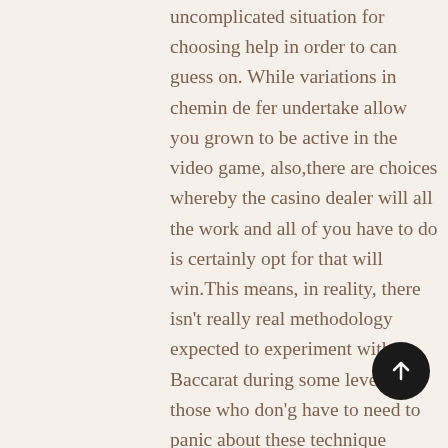uncomplicated situation for choosing help in order to can guess on. While variations in chemin de fer undertake allow you grown to be active in the video game, also,there are choices whereby the casino dealer will all the work and all of you have to do is certainly opt for that will win.This means, in reality, there isn't really real methodology expected to experiment with Baccarat during some level. For those who don'g have to need to panic about these technique associated with the game play and then are only hoping to space a fabulous wager for a cards, then simply chemin de fer contains of which opportunity open to you. Nonetheless, if you carry out need to get to the means of this online game and even getting to know the way to put into action it, baccarat